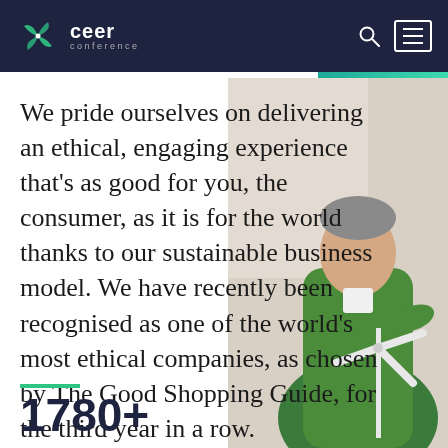ceer conference
[Figure (photo): Man in green sweater holding a wind turbine model, representing sustainability]
We pride ourselves on delivering an ethical, engaging experience that's as good for you, the consumer, as it is for the world thanks to our sustainable business model. We have recently been recognised as one of the world's most ethical companies, as chosen by The Good Shopping Guide, for the third year in a row.
1780+